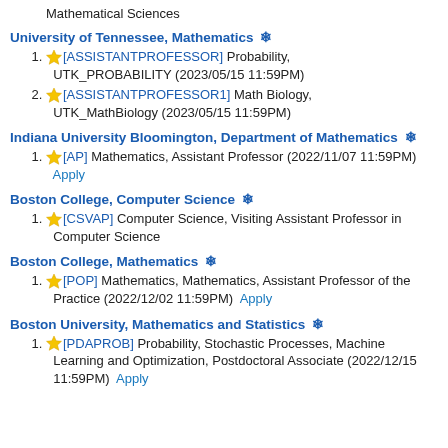Mathematical Sciences
University of Tennessee, Mathematics ❄
[ASSISTANTPROFESSOR] Probability, UTK_PROBABILITY (2023/05/15 11:59PM)
[ASSISTANTPROFESSOR1] Math Biology, UTK_MathBiology (2023/05/15 11:59PM)
Indiana University Bloomington, Department of Mathematics ❄
[AP] Mathematics, Assistant Professor (2022/11/07 11:59PM) Apply
Boston College, Computer Science ❄
[CSVAP] Computer Science, Visiting Assistant Professor in Computer Science
Boston College, Mathematics ❄
[POP] Mathematics, Mathematics, Assistant Professor of the Practice (2022/12/02 11:59PM) Apply
Boston University, Mathematics and Statistics ❄
[PDAPROB] Probability, Stochastic Processes, Machine Learning and Optimization, Postdoctoral Associate (2022/12/15 11:59PM) Apply